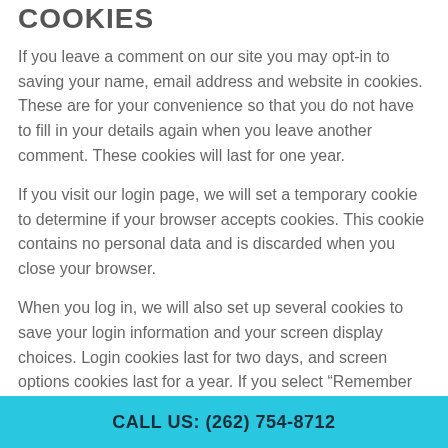COOKIES
If you leave a comment on our site you may opt-in to saving your name, email address and website in cookies. These are for your convenience so that you do not have to fill in your details again when you leave another comment. These cookies will last for one year.
If you visit our login page, we will set a temporary cookie to determine if your browser accepts cookies. This cookie contains no personal data and is discarded when you close your browser.
When you log in, we will also set up several cookies to save your login information and your screen display choices. Login cookies last for two days, and screen options cookies last for a year. If you select “Remember Me”, your login will persist for two
CALL US: (262) 754-8712